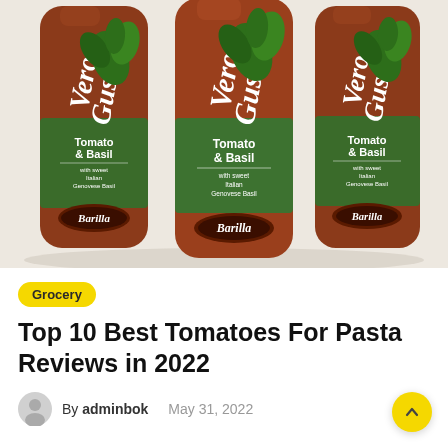[Figure (photo): Three Barilla Vero Gusto Tomato & Basil pasta sauce jars/bottles arranged side by side on a light background. Each bottle is brown/amber colored with a green label reading 'Tomato & Basil with sweet Italian Genovese Basil' and the Barilla logo at the bottom. The cursive 'Vero Gusto' text runs vertically on each bottle with green basil leaf illustrations.]
Grocery
Top 10 Best Tomatoes For Pasta Reviews in 2022
By adminbok   May 31, 2022